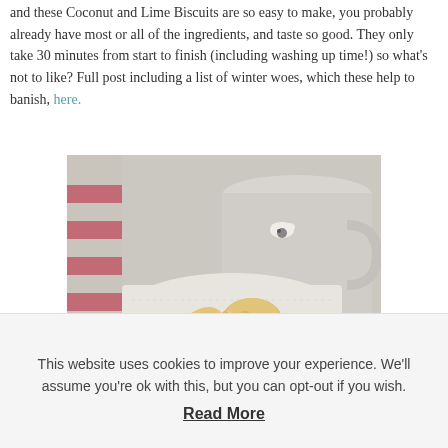and these Coconut and Lime Biscuits are so easy to make, you probably already have most or all of the ingredients, and taste so good. They only take 30 minutes from start to finish (including washing up time!) so what's not to like? Full post including a list of winter woes, which these help to banish, here.
[Figure (photo): Photo of coconut and lime biscuits on a white embroidered cloth napkin, with a grey ceramic mug with a bee decoration in the background. Red and white striped fabric visible on the left.]
This website uses cookies to improve your experience. We'll assume you're ok with this, but you can opt-out if you wish.
Read More